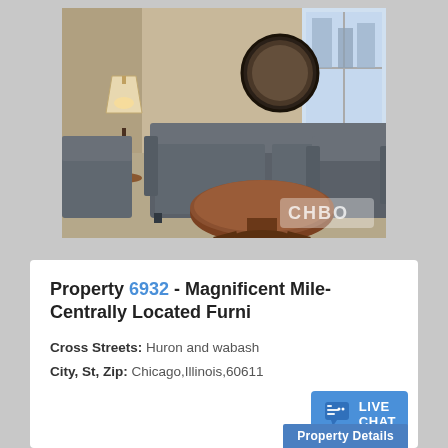[Figure (photo): Interior living room photo showing a gray sofa, two gray armchairs, a round wooden coffee table, two lamps, a round mirror on the wall, and a window. CHBO watermark visible in lower right corner.]
Property 6932 - Magnificent Mile-Centrally Located Furni
Cross Streets: Huron and wabash
City, St, Zip: Chicago,Illinois,60611